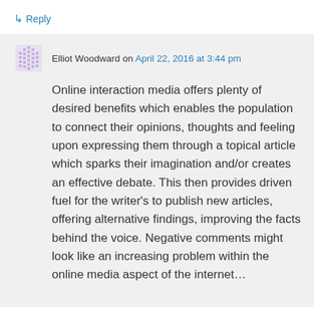↳ Reply
Elliot Woodward on April 22, 2016 at 3:44 pm
Online interaction media offers plenty of desired benefits which enables the population to connect their opinions, thoughts and feeling upon expressing them through a topical article which sparks their imagination and/or creates an effective debate. This then provides driven fuel for the writer's to publish new articles, offering alternative findings, improving the facts behind the voice. Negative comments might look like an increasing problem within the online media aspect of the internet...